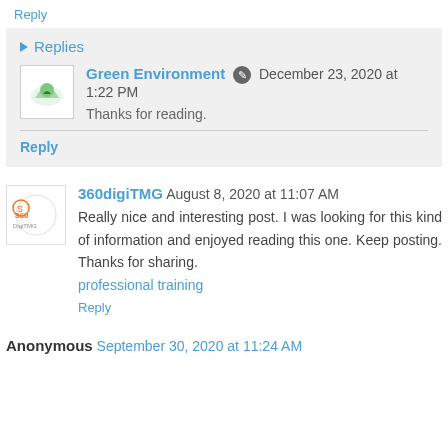Reply
Replies
Green Environment  December 23, 2020 at 1:22 PM
Thanks for reading.
Reply
360digiTMG  August 8, 2020 at 11:07 AM
Really nice and interesting post. I was looking for this kind of information and enjoyed reading this one. Keep posting. Thanks for sharing.
professional training
Reply
Anonymous  September 30, 2020 at 11:24 AM